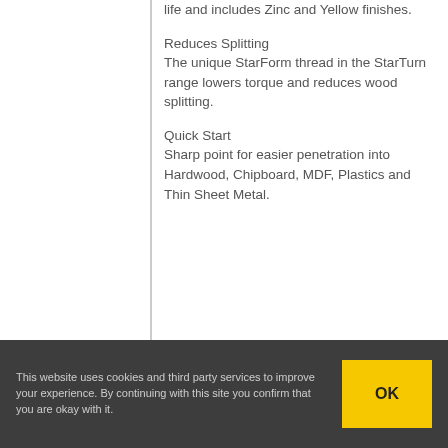life and includes Zinc and Yellow finishes.
Reduces Splitting
The unique StarForm thread in the StarTurn range lowers torque and reduces wood splitting.
Quick Start
Sharp point for easier penetration into Hardwood, Chipboard, MDF, Plastics and Thin Sheet Metal.
This website uses cookies and third party services to improve your experience. By continuing with this site you confirm that you are okay with it.